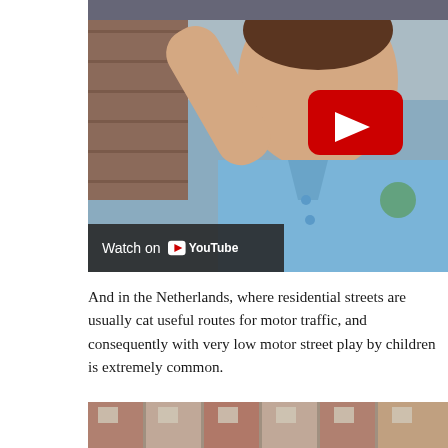[Figure (screenshot): YouTube video thumbnail showing a child in a blue school polo shirt with arm raised and mouth open, with a YouTube play button overlay and a 'Watch on YouTube' bar at the bottom left.]
And in the Netherlands, where residential streets are usually cat useful routes for motor traffic, and consequently with very low motor street play by children is extremely common.
[Figure (photo): Partial photo of a residential street with brick buildings, cropped at the bottom of the page.]